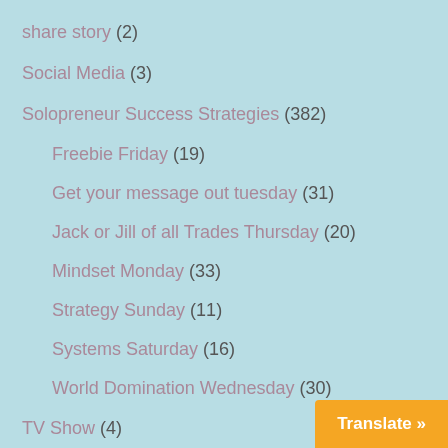share story (2)
Social Media (3)
Solopreneur Success Strategies (382)
Freebie Friday (19)
Get your message out tuesday (31)
Jack or Jill of all Trades Thursday (20)
Mindset Monday (33)
Strategy Sunday (11)
Systems Saturday (16)
World Domination Wednesday (30)
TV Show (4)